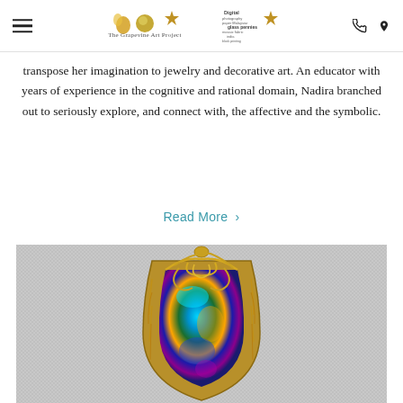The Grapevine Art Project — navigation header with hamburger menu, logo, phone and location icons
transpose her imagination to jewelry and decorative art. An educator with years of experience in the cognitive and rational domain, Nadira branched out to seriously explore, and connect with, the affective and the symbolic.
Read More >
[Figure (photo): Close-up photograph of a decorative wire-wrapped jewelry pendant featuring a large colorful dichroic glass stone (blue, green, teal, gold iridescent colors) encased in intricate gold wire filigree work, set against a light gray textile background.]